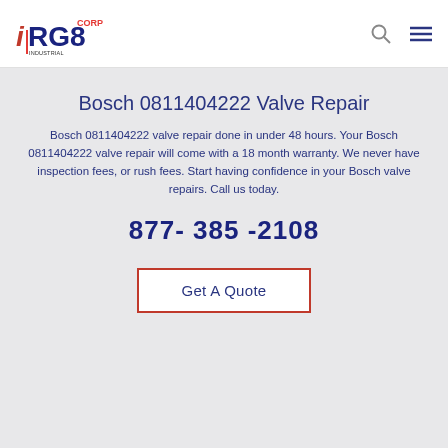[Figure (logo): iRG8 Industrial Repair Group logo in top left header]
Bosch 0811404222 Valve Repair
Bosch 0811404222 valve repair done in under 48 hours. Your Bosch 0811404222 valve repair will come with a 18 month warranty. We never have inspection fees, or rush fees. Start having confidence in your Bosch valve repairs. Call us today.
877- 385 -2108
Get A Quote